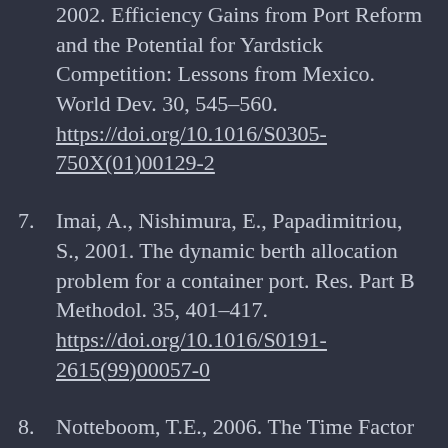Estache, A., Gonzalez, M., Trujillo, L., 2002. Efficiency Gains from Port Reform and the Potential for Yardstick Competition: Lessons from Mexico. World Dev. 30, 545–560. https://doi.org/10.1016/S0305-750X(01)00129-2
Imai, A., Nishimura, E., Papadimitriou, S., 2001. The dynamic berth allocation problem for a container port. Res. Part B Methodol. 35, 401–417. https://doi.org/10.1016/S0191-2615(99)00057-0
Notteboom, T.E., 2006. The Time Factor in Liner Shipping Services.